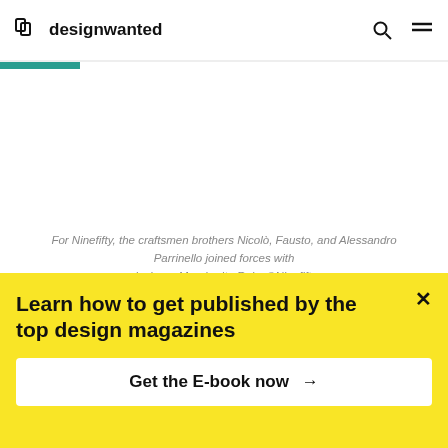designwanted
For Ninefifty, the craftsmen brothers Nicolò, Fausto, and Alessandro Parrinello joined forces with designer Margherita Rui – ©Ninefifty
At 950°C, clay and lava are transformed, fusing as the material takes on new forms and vibrant
Learn how to get published by the top design magazines
Get the E-book now →